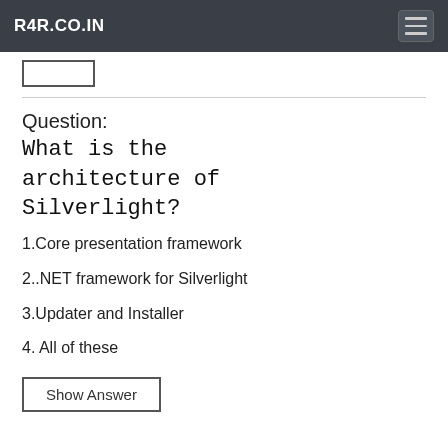R4R.CO.IN
Question:
What is the architecture of Silverlight?
1.Core presentation framework
2..NET framework for Silverlight
3.Updater and Installer
4. All of these